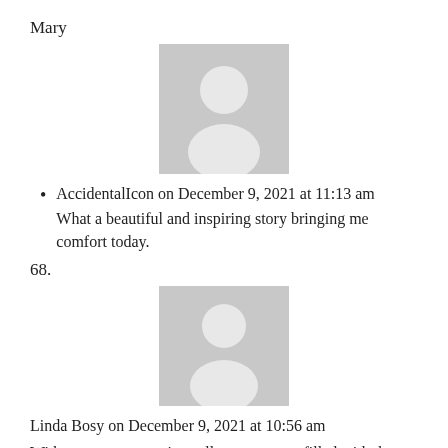Mary
[Figure (illustration): Generic grey placeholder avatar silhouette (person outline) on a grey background, square format]
AccidentalIcon on December 9, 2021 at 11:13 am
What a beautiful and inspiring story bringing me comfort today.
68.
[Figure (illustration): Generic grey placeholder avatar silhouette (person outline) on a grey background, square format]
Linda Bosy on December 9, 2021 at 10:56 am
With our past generations all gone, we are filled with the joys of sharing our Christmas season with our 15-month-old grandson, our daughter and husband. In a year of many